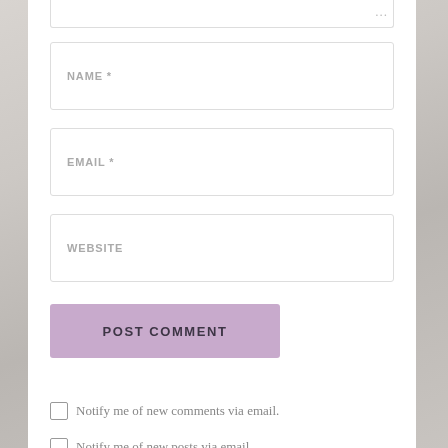[Figure (screenshot): Partial view of a web comment form showing NAME, EMAIL, WEBSITE input fields, a POST COMMENT button, and two checkbox options for email notifications]
NAME *
EMAIL *
WEBSITE
POST COMMENT
Notify me of new comments via email.
Notify me of new posts via email.